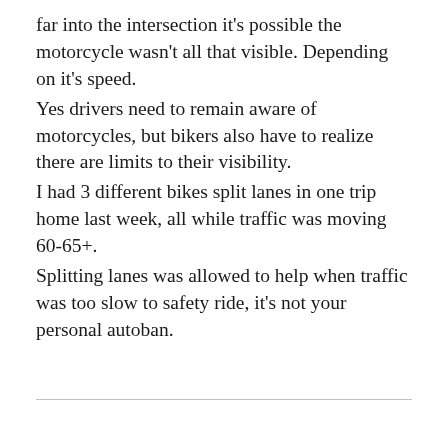far into the intersection it's possible the motorcycle wasn't all that visible. Depending on it's speed.
Yes drivers need to remain aware of motorcycles, but bikers also have to realize there are limits to their visibility.
I had 3 different bikes split lanes in one trip home last week, all while traffic was moving 60-65+.
Splitting lanes was allowed to help when traffic was too slow to safety ride, it's not your personal autoban.